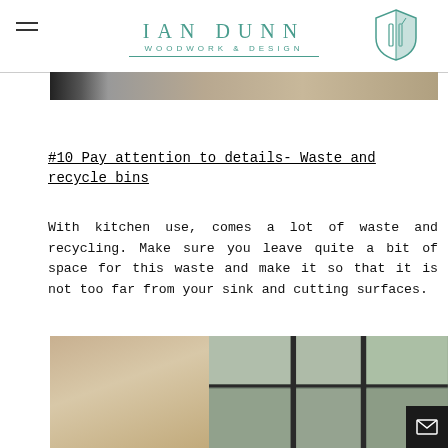IAN DUNN WOODWORK & DESIGN
[Figure (photo): Partial view of a kitchen counter or surface, showing wood tones and neutral colors]
#10 Pay attention to details- Waste and recycle bins
With kitchen use, comes a lot of waste and recycling. Make sure you leave quite a bit of space for this waste and make it so that it is not too far from your sink and cutting surfaces.
[Figure (photo): Interior room with wooden paneled walls and large skylight windows showing trees outside]